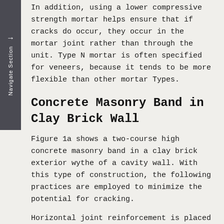In addition, using a lower compressive strength mortar helps ensure that if cracks do occur, they occur in the mortar joint rather than through the unit. Type N mortar is often specified for veneers, because it tends to be more flexible than other mortar Types.
Concrete Masonry Band in Clay Brick Wall
Figure 1a shows a two-course high concrete masonry band in a clay brick exterior wythe of a cavity wall. With this type of construction, the following practices are employed to minimize the potential for cracking.
Horizontal joint reinforcement is placed in the